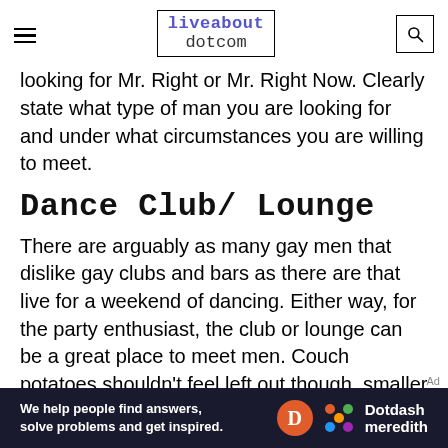liveabout dotcom
looking for Mr. Right or Mr. Right Now. Clearly state what type of man you are looking for and under what circumstances you are willing to meet.
Dance Club/ Lounge
There are arguably as many gay men that dislike gay clubs and bars as there are that live for a weekend of dancing. Either way, for the party enthusiast, the club or lounge can be a great place to meet men. Couch potatoes shouldn't feel left out though, smaller and less intimidating lounges can
[Figure (infographic): Dotdash Meredith advertisement banner: 'We help people find answers, solve problems and get inspired.' with Dotdash Meredith logo on dark background.]